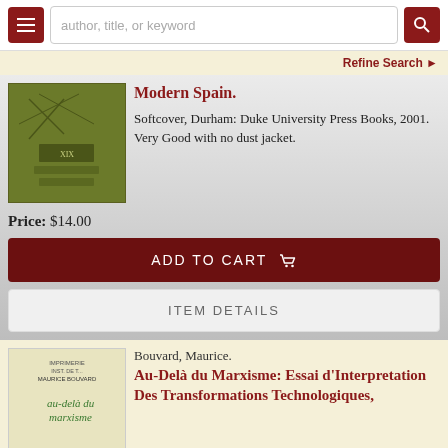author, title, or keyword [search bar] | Refine Search
Modern Spain.
Softcover, Durham: Duke University Press Books, 2001. Very Good with no dust jacket.
Price: $14.00
ADD TO CART
ITEM DETAILS
Bouvard, Maurice.
Au-Delà du Marxisme: Essai d'Interpretation Des Transformations Technologiques,